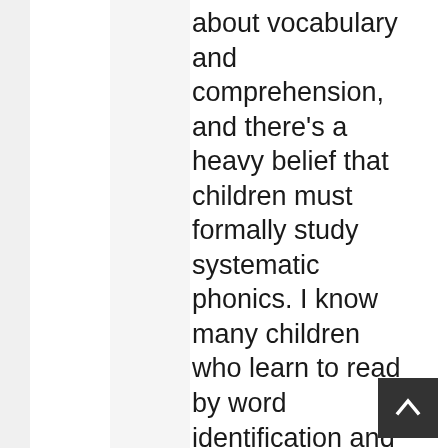about vocabulary and comprehension, and there's a heavy belief that children must formally study systematic phonics. I know many children who learn to read by word identification and by hearing and simply looking at picture books.
The NRP didn't review anything about balanced literacy.
I especially find it